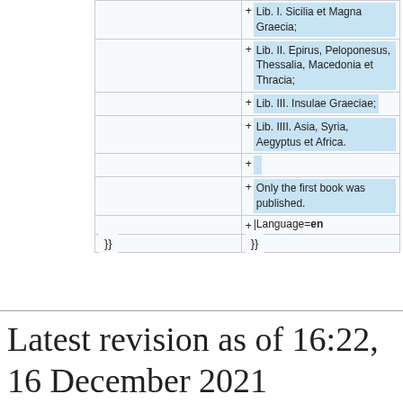|  | Lib. I. Sicilia et Magna Graecia; |
|  | Lib. II. Epirus, Peloponesus, Thessalia, Macedonia et Thracia; |
|  | Lib. III. Insulae Graeciae; |
|  | Lib. IIII. Asia, Syria, Aegyptus et Africa. |
|  |  |
|  | Only the first book was published. |
|  | |Language=en |
| }} | }} |
Latest revision as of 16:22, 16 December 2021